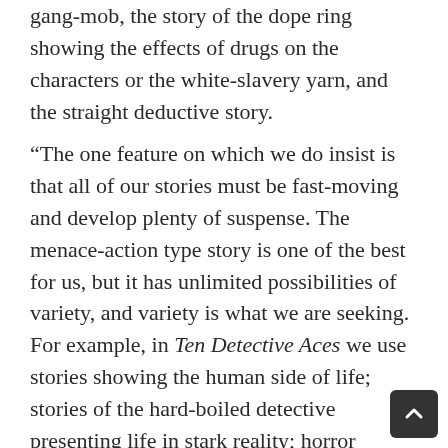gang-mob, the story of the dope ring showing the effects of drugs on the characters or the white-slavery yarn, and the straight deductive story.
“The one feature on which we do insist is that all of our stories must be fast-moving and develop plenty of suspense. The menace-action type story is one of the best for us, but it has unlimited possibilities of variety, and variety is what we are seeking. For example, in Ten Detective Aces we use stories showing the human side of life; stories of the hard-boiled detective presenting life in stark reality; horror stories, stories from the murderer’s point of view, stories with or without romance or